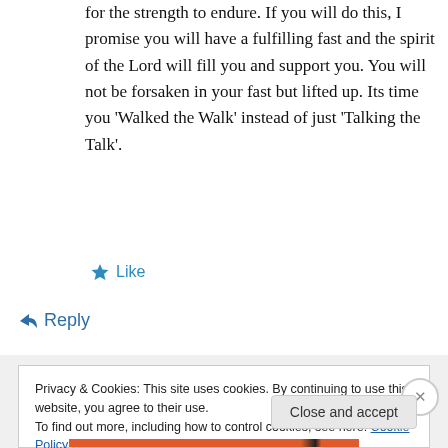for the strength to endure. If you will do this, I promise you will have a fulfilling fast and the spirit of the Lord will fill you and support you. You will not be forsaken in your fast but lifted up. Its time you 'Walked the Walk' instead of just 'Talking the Talk'.
★ Like
↵ Reply
Privacy & Cookies: This site uses cookies. By continuing to use this website, you agree to their use.
To find out more, including how to control cookies, see here: Cookie Policy
Close and accept